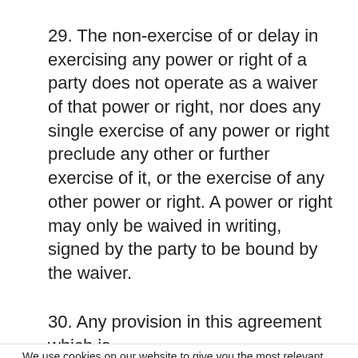29. The non-exercise of or delay in exercising any power or right of a party does not operate as a waiver of that power or right, nor does any single exercise of any power or right preclude any other or further exercise of it, or the exercise of any other power or right. A power or right may only be waived in writing, signed by the party to be bound by the waiver.
30. Any provision in this agreement which is
We use cookies on our website to give you the most relevant experience by remembering your preferences and repeat visits. By clicking “Accept All”, you consent to the use of ALL the cookies. However, you may visit "Cookie Settings" to provide a controlled consent.